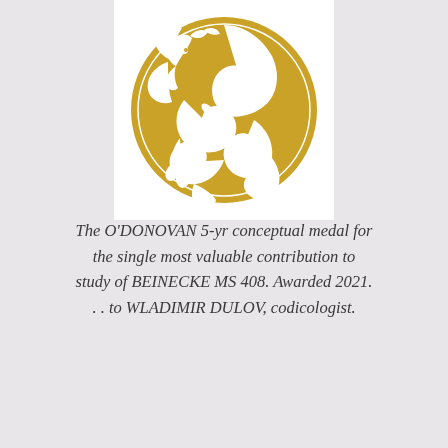[Figure (logo): Circular gold dragon emblem on white background — a stylized dragon coiled in a yin-yang arrangement, rendered in gold/yellow on white, inside a gold circle border.]
The O'DONOVAN 5-yr conceptual medal for the single most valuable contribution to study of BEINECKE MS 408. Awarded 2021. . . to WLADIMIR DULOV, codicologist.